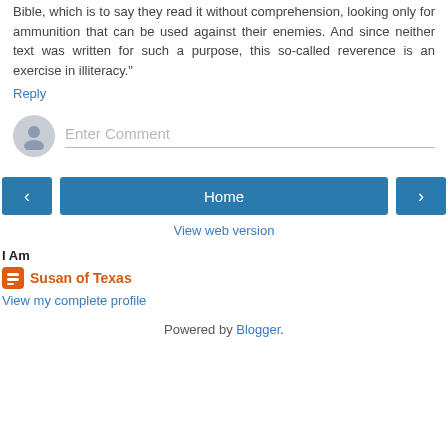Bible, which is to say they read it without comprehension, looking only for ammunition that can be used against their enemies. And since neither text was written for such a purpose, this so-called reverence is an exercise in illiteracy."
Reply
[Figure (illustration): Comment input field with user avatar icon and placeholder text 'Enter Comment']
[Figure (infographic): Navigation buttons: left arrow, Home button, right arrow]
View web version
I Am
Susan of Texas
View my complete profile
Powered by Blogger.